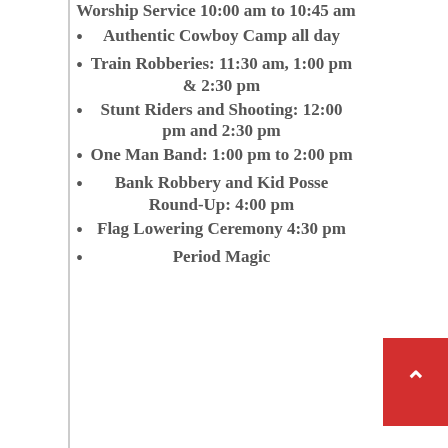Worship Service 10:00 am to 10:45 am
Authentic Cowboy Camp all day
Train Robberies: 11:30 am, 1:00 pm & 2:30 pm
Stunt Riders and Shooting:  12:00 pm and 2:30 pm
One Man Band:  1:00 pm to 2:00 pm
Bank Robbery and Kid Posse Round-Up: 4:00 pm
Flag Lowering Ceremony 4:30 pm
Period Magic